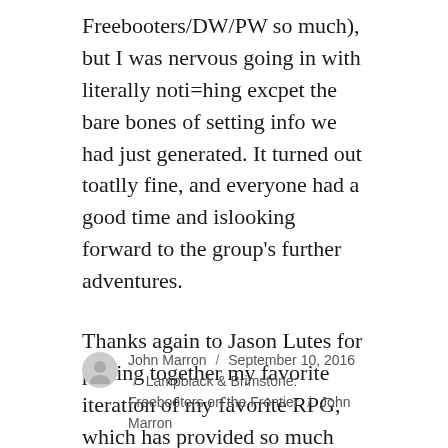Freebooters/DW/PW so much), but I was nervous going in with literally noti=hing excpet the bare bones of setting info we had just generated. It turned out toatlly fine, and everyone had a good time and islooking forward to the group’s further adventures.
Thanks again to Jason Lutes for putting together my favorite iteration of my favorite RPG, which has provided so much fun for me and my group.
John Marron / September 10, 2016 / Lampblack & Brimstone: Freebooters on the Frontier / John Marron